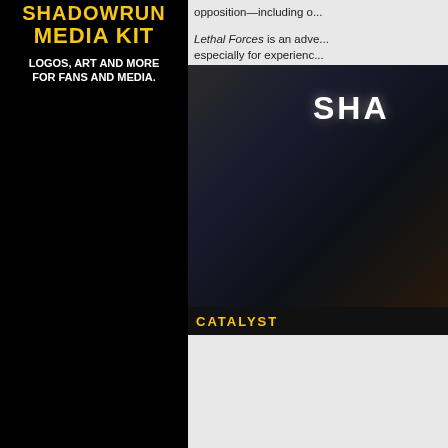SHADOWRUN MEDIA KIT
LOGOS, ART AND MORE FOR FANS AND MEDIA.
opposition—including o...
Lethal Forces is an adve... especially for experience... challenge. The plot elem... Shadowrun: Anarchy.
[Figure (illustration): Book cover of a Shadowrun product showing darkly-lit cyberpunk scene with 'SHA' text visible, Catalyst Game Labs logo at bottom, with smaller thumbnail version also visible]